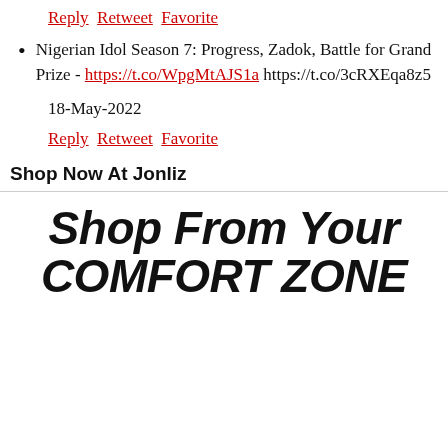Reply  Retweet  Favorite
Nigerian Idol Season 7: Progress, Zadok, Battle for Grand Prize - https://t.co/WpgMtAJS1a https://t.co/3cRXEqa8z5
18-May-2022
Reply  Retweet  Favorite
Shop Now At Jonliz
[Figure (illustration): Bold italic text banner reading 'Shop From Your COMFORT ZONE' in large black sans-serif italic font]